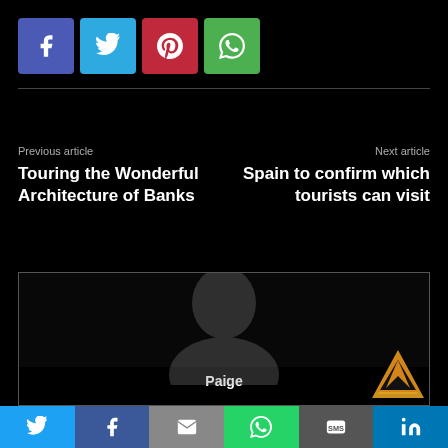[Figure (infographic): Social share buttons: Facebook (blue-purple), Twitter (blue), Pinterest (red), WhatsApp (green)]
Previous article
Touring the Wonderful Architecture of Banks
Next article
Spain to confirm which tourists can visit
[Figure (photo): Dark profile photo of a person named Paige]
Paige
[Figure (infographic): Bottom share bar with Twitter, Facebook, Email, WhatsApp, SMS, LinkedIn icons]